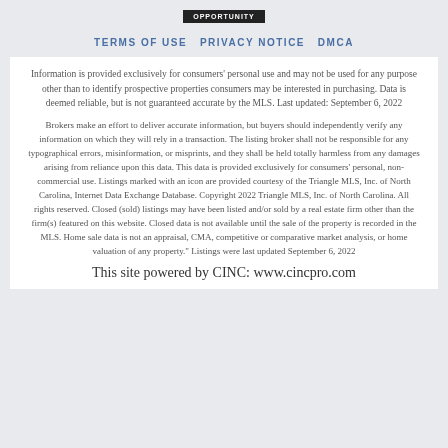OPPORTUNITY
TERMS OF USE  PRIVACY NOTICE  DMCA
Information is provided exclusively for consumers' personal use and may not be used for any purpose other than to identify prospective properties consumers may be interested in purchasing. Data is deemed reliable, but is not guaranteed accurate by the MLS. Last updated: September 6, 2022
Brokers make an effort to deliver accurate information, but buyers should independently verify any information on which they will rely in a transaction. The listing broker shall not be responsible for any typographical errors, misinformation, or misprints, and they shall be held totally harmless from any damages arising from reliance upon this data. This data is provided exclusively for consumers' personal, non-commercial use. Listings marked with an icon are provided courtesy of the Triangle MLS, Inc. of North Carolina, Internet Data Exchange Database. Copyright 2022 Triangle MLS, Inc. of North Carolina. All rights reserved. Closed (sold) listings may have been listed and/or sold by a real estate firm other than the firm(s) featured on this website. Closed data is not available until the sale of the property is recorded in the MLS. Home sale data is not an appraisal, CMA, competitive or comparative market analysis, or home valuation of any property." Listings were last updated September 6, 2022
This site powered by CINC: www.cincpro.com